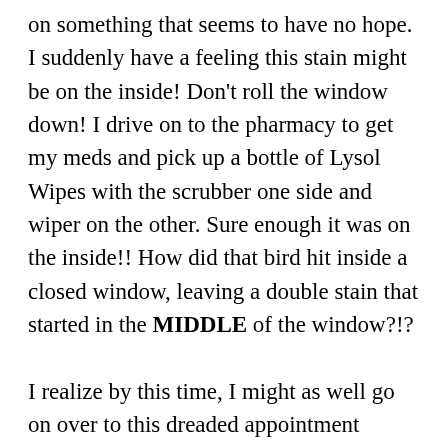on something that seems to have no hope. I suddenly have a feeling this stain might be on the inside! Don't roll the window down! I drive on to the pharmacy to get my meds and pick up a bottle of Lysol Wipes with the scrubber one side and wiper on the other. Sure enough it was on the inside!! How did that bird hit inside a closed window, leaving a double stain that started in the MIDDLE of the window?!?

I realize by this time, I might as well go on over to this dreaded appointment before anything else happens to keep me from it. I make it with a little time to at least catch my breath. Now You are ready to allow me to attempt that! 😉 I